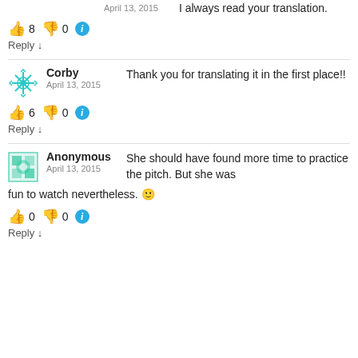April 13, 2015   I always read your translation.
👍 8 👎 0 ℹ
Reply ↓
Corby  April 13, 2015  Thank you for translating it in the first place!!
👍 6 👎 0 ℹ
Reply ↓
Anonymous  April 13, 2015  She should have found more time to practice the pitch. But she was fun to watch nevertheless. 🙂
👍 0 👎 0 ℹ
Reply ↓